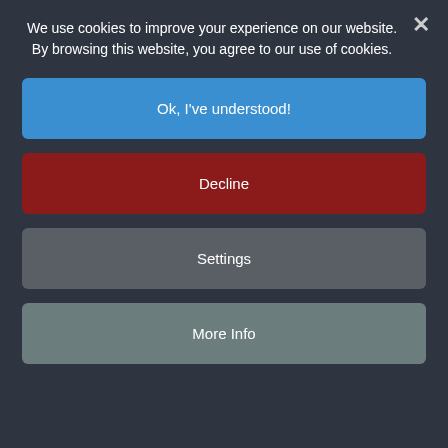We use cookies to improve your experience on our website. By browsing this website, you agree to our use of cookies.
Ok, I've understood!
Decline
Settings
More Info
How we are protected from discrimination (The Equality Act 2010)
Overt and covert racism
Stereotyping and discrimination
Human rights
Trafficking and modern slavery
You and Your body